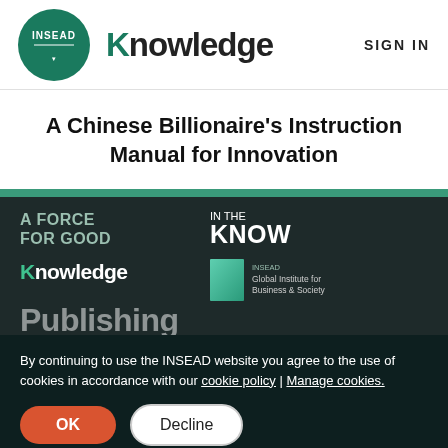[Figure (logo): INSEAD circular green logo with white text and Knowledge wordmark header logo]
SIGN IN
A Chinese Billionaire's Instruction Manual for Innovation
[Figure (logo): Dark footer area with logos: A Force For Good, In The Know, Knowledge, INSEAD Global Institute for Business & Society, Publishing]
By continuing to use the INSEAD website you agree to the use of cookies in accordance with our cookie policy | Manage cookies.